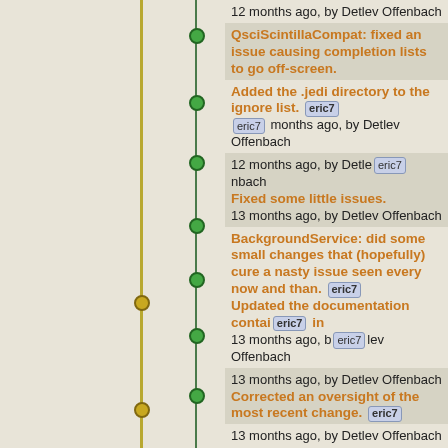12 months ago, by Detlev Offenbach
QsciScintillaCompat: fixed an issue causing completion lists to go off-screen. [eric7]
13 months ago, by Detlev Offenbach
Added the .jedi directory to the ignore list. [eric7]
12 months ago, by Detlev Offenbach
Fixed some little issues. [eric7]
13 months ago, by Detlev Offenbach
BackgroundService: did some small changes that (hopefully) cure a nasty issue seen every now and than. [eric7]
13 months ago, by Detlev Offenbach
Updated the documentation contained in the 'docs' folder. [eric7]
13 months ago, by Detlev Offenbach
Corrected an oversight of the most recent change. [eric7]
13 months ago, by Detlev Offenbach
Updated the install script to use a environment specific mercurial if that is available. [eric7]
13 months ago, by Detlev Offenbach
BackgroundService: did some small changes that (hopefully) cure a nasty issue seen every now and than.
13 months ago, by Detlev Offenbach
VariablesViewer: fixed an issue causing string like variables with values enclosed in '{', '[' or '()' not being shown dur to an exception (issue396). [eric7]
13 months ago, by Detlev Offenbach
VariablesViewer: fixed an issue causing string like variables with values enclosed in '{', '[' or '()' not being shown dur to an exception (issue396).
13 months ago, by Detlev Offenbach
Editor: fixed an issue causing in endless loop when a split editor was shown and
13 months ago, by Detlev Offenbach